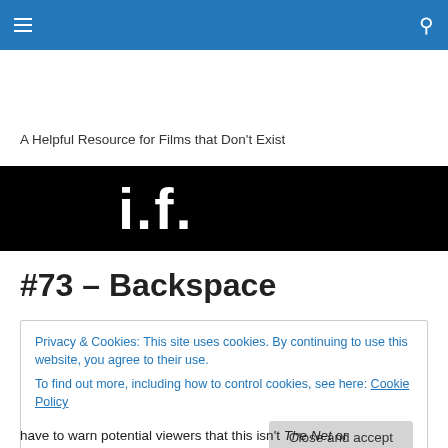Navigation bar with hamburger menu and search icon
A Helpful Resource for Films that Don't Exist
[Figure (logo): Black banner with white bold text reading 'i.f.']
#73 – Backspace
Privacy & Cookies: This site uses cookies. By continuing to use this website, you agree to their use. To find out more, including how to control cookies, see here: Cookie Policy Close and accept
have to warn potential viewers that this isn't The Net or